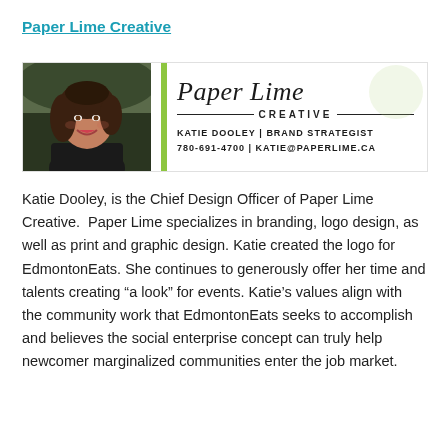Paper Lime Creative
[Figure (other): Business card banner showing a photo of Katie Dooley on the left, a green vertical bar divider, then the Paper Lime Creative logo with script text 'Paper Lime', 'CREATIVE', and contact info: 'KATIE DOOLEY | BRAND STRATEGIST', '780-691-4700 | KATIE@PAPERLIME.CA']
Katie Dooley, is the Chief Design Officer of Paper Lime Creative.  Paper Lime specializes in branding, logo design, as well as print and graphic design. Katie created the logo for EdmontonEats. She continues to generously offer her time and talents creating “a look” for events. Katie’s values align with the community work that EdmontonEats seeks to accomplish and believes the social enterprise concept can truly help newcomer marginalized communities enter the job market.